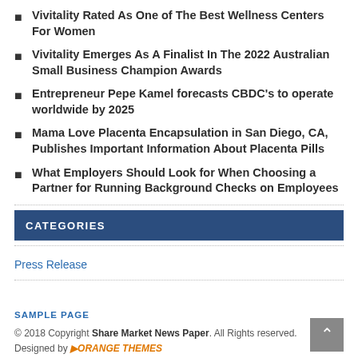Vivitality Rated As One of The Best Wellness Centers For Women
Vivitality Emerges As A Finalist In The 2022 Australian Small Business Champion Awards
Entrepreneur Pepe Kamel forecasts CBDC's to operate worldwide by 2025
Mama Love Placenta Encapsulation in San Diego, CA, Publishes Important Information About Placenta Pills
What Employers Should Look for When Choosing a Partner for Running Background Checks on Employees
CATEGORIES
Press Release
SAMPLE PAGE
© 2018 Copyright Share Market News Paper. All Rights reserved. Designed by ORANGE THEMES